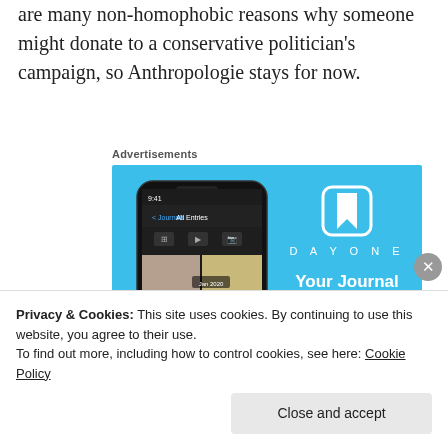are many non-homophobic reasons why someone might donate to a conservative politician's campaign, so Anthropologie stays for now.
Advertisements
[Figure (photo): DayOne app advertisement banner with blue background showing a smartphone with the DayOne journaling app interface and the text 'DAYONE' and 'Your Journal for life']
Privacy & Cookies: This site uses cookies. By continuing to use this website, you agree to their use.
To find out more, including how to control cookies, see here: Cookie Policy
Close and accept